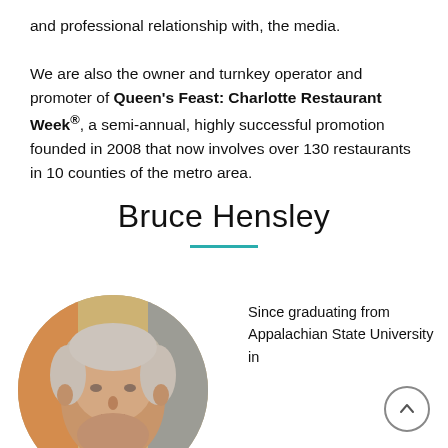and professional relationship with, the media.

We are also the owner and turnkey operator and promoter of Queen's Feast: Charlotte Restaurant Week®, a semi-annual, highly successful promotion founded in 2008 that now involves over 130 restaurants in 10 counties of the metro area.
Bruce Hensley
[Figure (photo): Circular portrait photo of Bruce Hensley, a middle-aged man with gray hair, smiling slightly, with colorful artwork visible in the background.]
Since graduating from Appalachian State University in